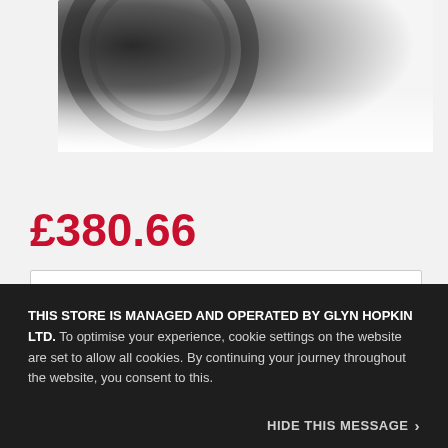[Figure (photo): Partial view of a car tyre/wheel in greyscale, fading from dark at top-left to white at bottom-right]
£380.66
Recommended All parts are checked for vehicle compatibility before dispatch ⓘ
THIS STORE IS MANAGED AND OPERATED BY GLYN HOPKIN LTD. To optimise your experience, cookie settings on the website are set to allow all cookies. By continuing your journey throughout the website, you consent to this.
HIDE THIS MESSAGE >